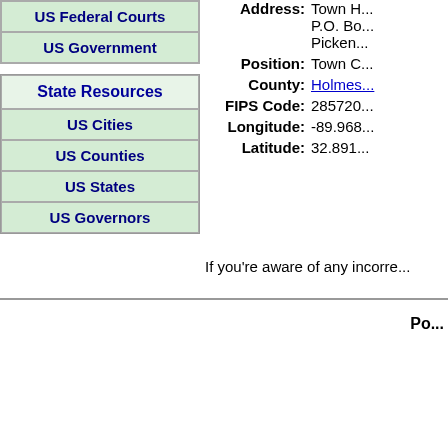US Federal Courts
US Government
State Resources
US Cities
US Counties
US States
US Governors
Address: Town H... P.O. Bo... Picken...
Position: Town C...
County: Holmes...
FIPS Code: 285720...
Longitude: -89.968...
Latitude: 32.891...
If you're aware of any incorre...
Po...
| Population | Year |
| --- | --- |
| 976 | 2020 * |
| 2015 * | 2016 * |
| --- | --- |
| 1,078 | 1,053 |